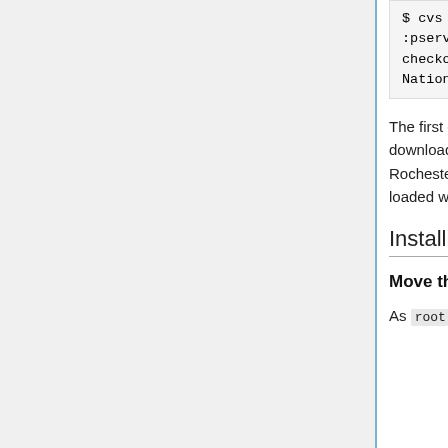$ cvs -d :pserver:anoncvs@cvs.webwork checkout NationalProblemLibrary
The first download gives you the latest released version with patches. The second download contains the WeBWorK National Problem Library. This now includes the Rochester and Union Libraries along with others as sub libraries. Your system will be loaded with many thousands of WeBWorK problems (over 16,000 currently).
Installing WeBWorK
Move the System into the Required Directories
As root create a webwork